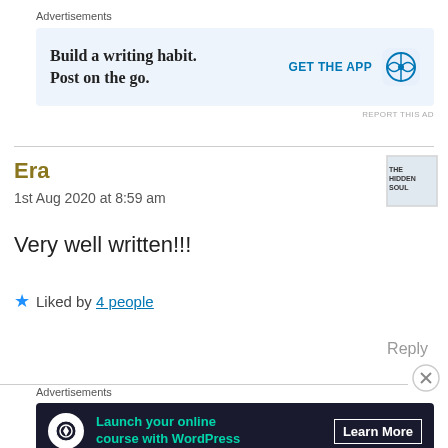Advertisements
[Figure (screenshot): WordPress ad: 'Build a writing habit. Post on the go.' with GET THE APP button and WordPress logo]
REPORT THIS AD
Era
1st Aug 2020 at 8:59 am
Very well written!!!
★ Liked by 4 people
Reply
Advertisements
[Figure (screenshot): Dark ad: 'Launch your online course with WordPress' with Learn More button]